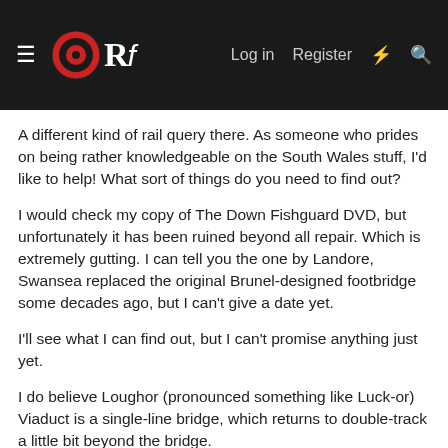ORf  Log in  Register
A different kind of rail query there. As someone who prides on being rather knowledgeable on the South Wales stuff, I'd like to help! What sort of things do you need to find out?
I would check my copy of The Down Fishguard DVD, but unfortunately it has been ruined beyond all repair. Which is extremely gutting. I can tell you the one by Landore, Swansea replaced the original Brunel-designed footbridge some decades ago, but I can't give a date yet.
I'll see what I can find out, but I can't promise anything just yet.
I do believe Loughor (pronounced something like Luck-or) Viaduct is a single-line bridge, which returns to double-track a little bit beyond the bridge.
Like I say, I'll try and get you some answers, but I'm not sure if I'll be able to find anything. Definately try Google for some ideas!
EDIT: Closest I've got to photos of the bridge to the west of the Carmarthen Triangle is a quick sight of it on my mini DV tape of 37419